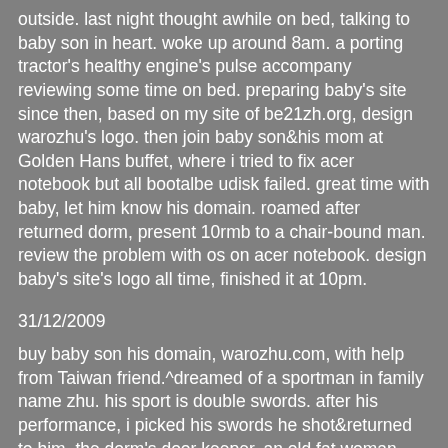outside. last night thought awhile on bed, talking to baby son in heart. woke up around 8am. a porting tractor's healthy engine's pulse accompany reviewing some time on bed. preparing baby's site since then, based on my site of be21zh.org, design warozhu's logo. then join baby son&his mom at Golden Hans buffet, where i tried to fix acer notebook but all bootalbe udisk failed. great time with baby, let him know his domain. roamed after returned dorm, present 10rmb to a chair-bound man. review the problem with os on acer notebook. design baby's site's logo all time, finished it at 10pm.
31/12/2009
buy baby son his domain, warozhu.com, with help from Taiwan friend.^dreamed of a sportman in family name zhu. his sport is double swords. after his performance, i picked his swords he shot&returned to him. the dorm's door keeper, an old fat woman, behaved evil: last night she with an other woman washed clothes lately from 8pm-9pm, and this morning again did&made noise around 5am in the nearby lavatory of the dorm. such a dirt! busy contacting Taiwan friend to register baby son his first domain, warozhu.com. the